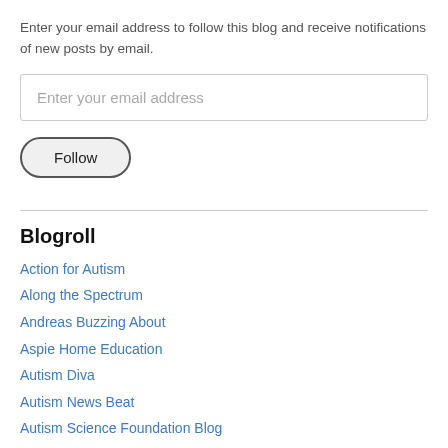Enter your email address to follow this blog and receive notifications of new posts by email.
[Figure (other): Email input field with placeholder text 'Enter your email address']
[Figure (other): Follow button with rounded border]
Blogroll
Action for Autism
Along the Spectrum
Andreas Buzzing About
Aspie Home Education
Autism Diva
Autism News Beat
Autism Science Foundation Blog
Autisms Edges
Ballastexistenz